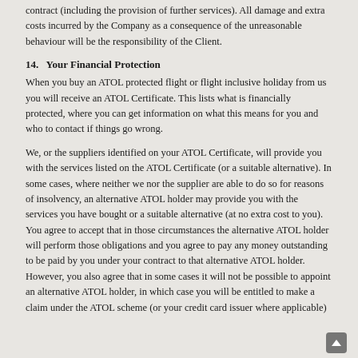contract (including the provision of further services). All damage and extra costs incurred by the Company as a consequence of the unreasonable behaviour will be the responsibility of the Client.
14.   Your Financial Protection
When you buy an ATOL protected flight or flight inclusive holiday from us you will receive an ATOL Certificate. This lists what is financially protected, where you can get information on what this means for you and who to contact if things go wrong.
We, or the suppliers identified on your ATOL Certificate, will provide you with the services listed on the ATOL Certificate (or a suitable alternative). In some cases, where neither we nor the supplier are able to do so for reasons of insolvency, an alternative ATOL holder may provide you with the services you have bought or a suitable alternative (at no extra cost to you). You agree to accept that in those circumstances the alternative ATOL holder will perform those obligations and you agree to pay any money outstanding to be paid by you under your contract to that alternative ATOL holder. However, you also agree that in some cases it will not be possible to appoint an alternative ATOL holder, in which case you will be entitled to make a claim under the ATOL scheme (or your credit card issuer where applicable)